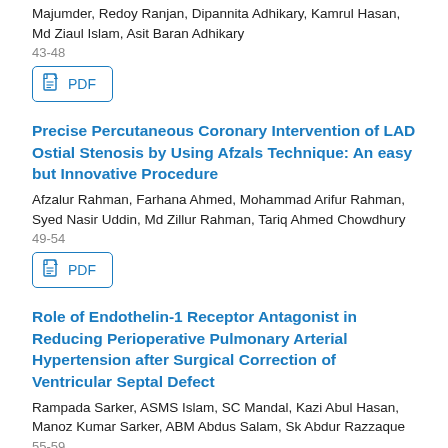Majumder, Redoy Ranjan, Dipannita Adhikary, Kamrul Hasan, Md Ziaul Islam, Asit Baran Adhikary
43-48
[Figure (other): PDF download button]
Precise Percutaneous Coronary Intervention of LAD Ostial Stenosis by Using Afzals Technique: An easy but Innovative Procedure
Afzalur Rahman, Farhana Ahmed, Mohammad Arifur Rahman, Syed Nasir Uddin, Md Zillur Rahman, Tariq Ahmed Chowdhury
49-54
[Figure (other): PDF download button]
Role of Endothelin-1 Receptor Antagonist in Reducing Perioperative Pulmonary Arterial Hypertension after Surgical Correction of Ventricular Septal Defect
Rampada Sarker, ASMS Islam, SC Mandal, Kazi Abul Hasan, Manoz Kumar Sarker, ABM Abdus Salam, Sk Abdur Razzaque
55-59